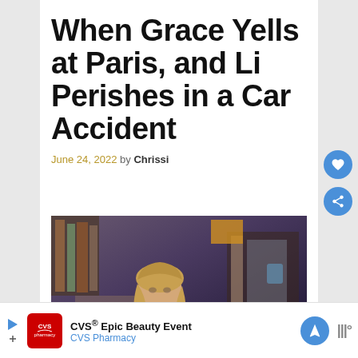When Grace Yells at Paris, and Li Perishes in a Car Accident
June 24, 2022 by Chrissi
[Figure (photo): A young woman with long blonde hair sitting in what appears to be an office setting with bookshelves in the background, wearing a dark floral top]
CVS® Epic Beauty Event
CVS Pharmacy